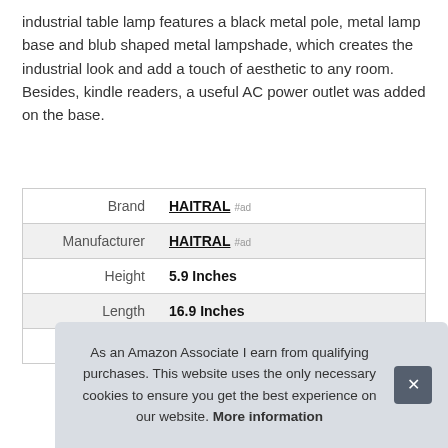industrial table lamp features a black metal pole, metal lamp base and blub shaped metal lampshade, which creates the industrial look and add a touch of aesthetic to any room. Besides, kindle readers, a useful AC power outlet was added on the base.
|  |  |
| --- | --- |
| Brand | HAITRAL #ad |
| Manufacturer | HAITRAL #ad |
| Height | 5.9 Inches |
| Length | 16.9 Inches |
| Width | 6.1 Inches |
As an Amazon Associate I earn from qualifying purchases. This website uses the only necessary cookies to ensure you get the best experience on our website. More information